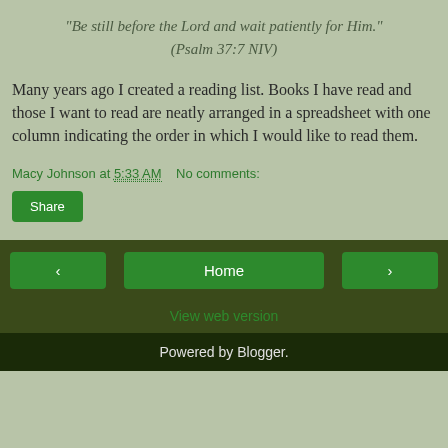“Be still before the Lord and wait patiently for Him.”
(Psalm 37:7 NIV)
Many years ago I created a reading list. Books I have read and those I want to read are neatly arranged in a spreadsheet with one column indicating the order in which I would like to read them.
Macy Johnson at 5:33 AM   No comments:
Share
Home | View web version | Powered by Blogger.